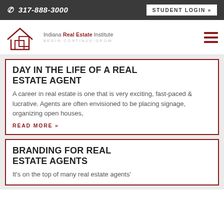317-888-3000  STUDENT LOGIN »
[Figure (logo): Indiana Real Estate Institute logo — house outline with overlapping square, text: Indiana Real Estate Institute, BEGIN·CONTINUE·GROW]
DAY IN THE LIFE OF A REAL ESTATE AGENT
A career in real estate is one that is very exciting, fast-paced & lucrative. Agents are often envisioned to be placing signage, organizing open houses,
READ MORE »
BRANDING FOR REAL ESTATE AGENTS
It's on the top of many real estate agents'